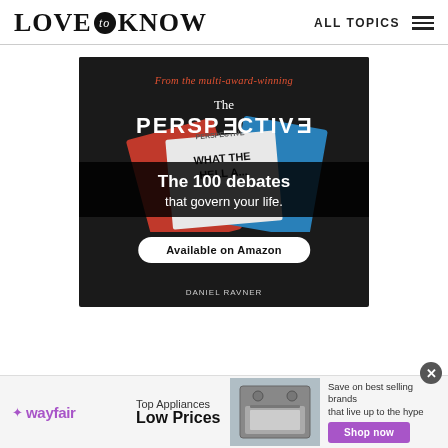LOVE to KNOW   ALL TOPICS
[Figure (illustration): Advertisement for 'The Perspective' book by Daniel Ravner. Dark background with book imagery (red/blue cover showing 'WHAT THE HELL' text). Orange italic text: 'From the multi-award-winning'. White serif 'The' and bold sans 'PERSPECTIVE'. Black banner with white bold text 'The 100 debates that govern your life.' and white oval button 'Available on Amazon'.]
[Figure (illustration): Wayfair advertisement banner. Purple wayfair logo on left. 'Top Appliances Low Prices' text. Image of stainless steel oven/range. 'Save on best selling brands that live up to the hype' text. Purple 'Shop now' button. Close (x) button top right.]